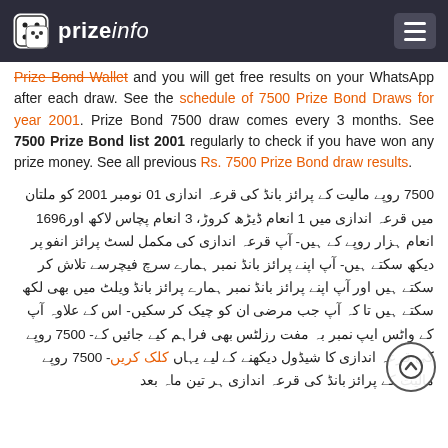prizeinfo
Prize Bond Wallet and you will get free results on your WhatsApp after each draw. See the schedule of 7500 Prize Bond Draws for year 2001. Prize Bond 7500 draw comes every 3 months. See 7500 Prize Bond list 2001 regularly to check if you have won any prize money. See all previous Rs. 7500 Prize Bond draw results.
7500 روپے مالیت کے پرائز بانڈ کی قرعہ اندازی 01 نومبر 2001 کو ملتان میں قرعہ اندازی میں 1 انعام ڈیڑھ کروڑ، 3 انعام پچاس لاکھ اور1696 انعام ہزار روپے کے ہیں- آپ قرعہ اندازی کی مکمل لسٹ پرائز انفو پر دیکھ سکتے ہیں- آپ اپنے پرائز بانڈ نمبر ہمارے سرچ فیچرسے تلاش کر سکتے ہیں اور آپ اپنے پرائز بانڈ نمبر ہمارے پرائز بانڈ ویلٹ میں بھی لکھ سکتے ہیں تا کہ آپ جب مرضی ان کو چیک کر سکیں- اس کے علاوہ آپ کے واٹس ایپ نمبر بہ مفت رزلٹس بھی فراہم کیے جائیں کے- 7500 روپے کی قرعہ اندازی کا شیڈول دیکھنے کے لیے یہاں کلک کریں- 7500 روپے مالیت کے پرائز بانڈ کی قرعہ اندازی ہر تین ماہ بعد